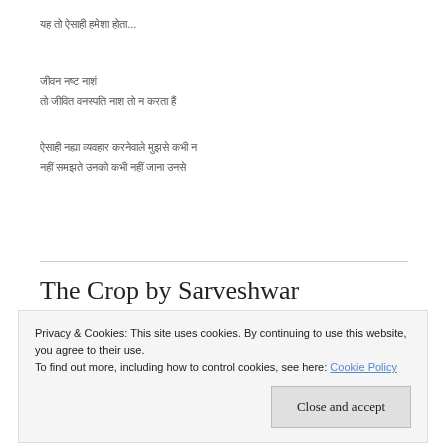यह तो ऐसा ही हमेशा होता...
जीवन नष्ट
तो जीवित वनस्पति नाश तो न करता है
ऐसा लगता व्यवहार करनेवाले मुझसे कभी न
नहीं समझते उनको कभी नहीं जाना उनसे
The Crop by Sarveshwar
Privacy & Cookies: This site uses cookies. By continuing to use this website, you agree to their use.
To find out more, including how to control cookies, see here: Cookie Policy
Close and accept